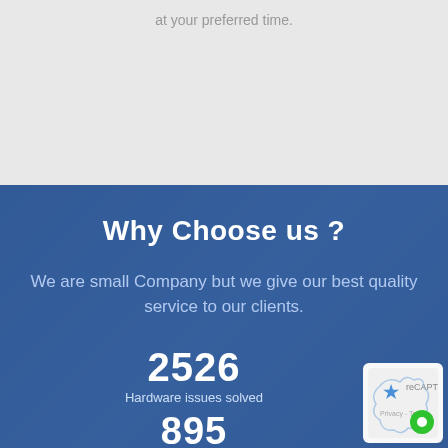at your preferred time.
Why Choose us ?
We are small Company but we give our best quality service to our clients.
2526
Hardware issues solved
895